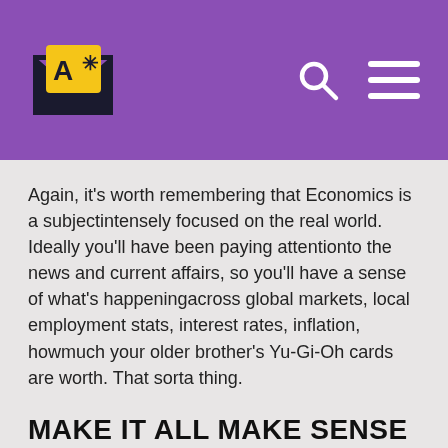A* [logo with asterisk] — search and menu navigation
Again, it's worth remembering that Economics is a subjectintensely focused on the real world. Ideally you'll have been paying attentionto the news and current affairs, so you'll have a sense of what's happeningacross global markets, local employment stats, interest rates, inflation, howmuch your older brother's Yu-Gi-Oh cards are worth. That sorta thing.
MAKE IT ALL MAKE SENSE
Now: the easy part. Take all that stuff you've crammed into your head – the percentages and rates, the links between this and that – and slot it all into an essay that flows like honey from a bottle that's been upside-down